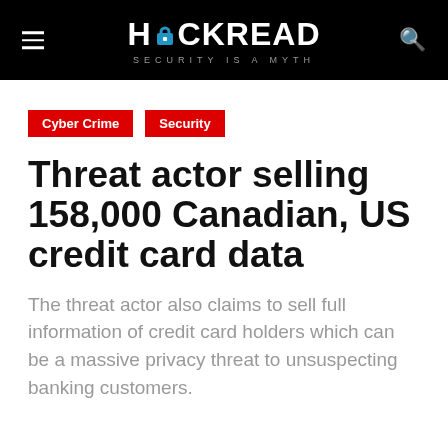HACKREAD — SECURITY IS A MYTH
Cyber Crime
Security
Threat actor selling 158,000 Canadian, US credit card data
The threat actor also claims to sell full information of credit card holders which can be a massive privacy threat to unsuspecting banking customers.